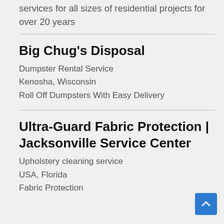services for all sizes of residential projects for over 20 years
Big Chug's Disposal
Dumpster Rental Service
Kenosha, Wisconsin
Roll Off Dumpsters With Easy Delivery
Ultra-Guard Fabric Protection | Jacksonville Service Center
Upholstery cleaning service
USA, Florida
Fabric Protection